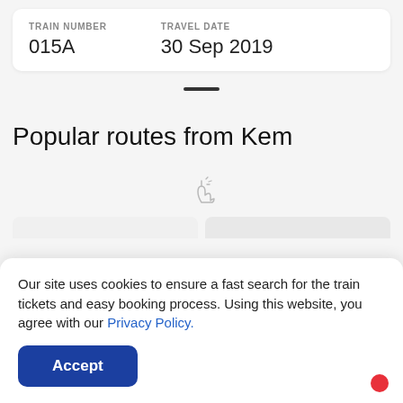| TRAIN NUMBER | TRAVEL DATE |
| --- | --- |
| 015A | 30 Sep 2019 |
[Figure (illustration): Drag handle bar (horizontal dark pill shape) indicating a draggable sheet]
Popular routes from Kem
[Figure (illustration): Swipe gesture cursor icon with sparkle indicating swipeable content]
Our site uses cookies to ensure a fast search for the train tickets and easy booking process. Using this website, you agree with our Privacy Policy.
Accept